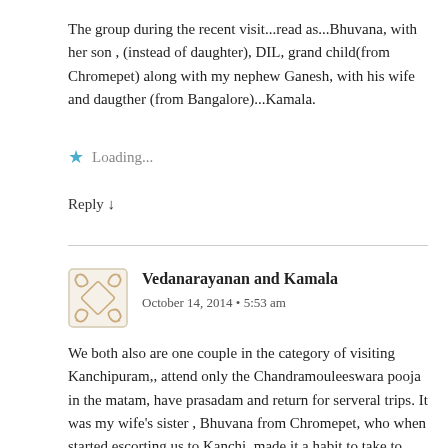The group during the recent visit...read as...Bhuvana, with her son , (instead of daughter), DIL, grand child(from Chromepet) along with my nephew Ganesh, with his wife and daugther (from Bangalore)...Kamala.
Loading...
Reply ↓
Vedanarayanan and Kamala
October 14, 2014 • 5:53 am
We both also are one couple in the category of visiting Kanchipuram,, attend only the Chandramouleeswara pooja in the matam, have prasadam and return for serveral trips. It was my wife's sister , Bhuvana from Chromepet, who when started escorting us to Kanchi, made it a habit to take to Kamakshi temple regularly. Then we
found time to visit Ekambareswar temple, Varadarajar, Kumara kottam, Ulakalanda Perumal ...etc. depending on availability of